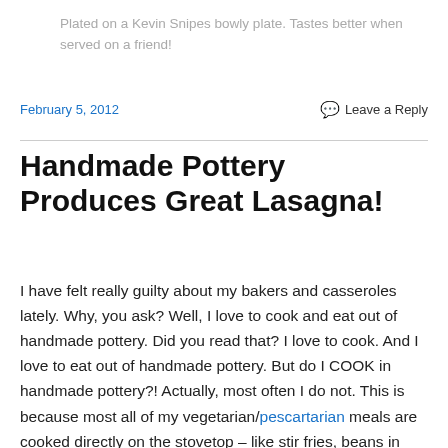Plated on a Kevin Snipes bowly plate. Tastes better when served on a friend!
February 5, 2012    Leave a Reply
Handmade Pottery Produces Great Lasagna!
I have felt really guilty about my bakers and casseroles lately. Why, you ask? Well, I love to cook and eat out of handmade pottery. Did you read that? I love to cook. And I love to eat out of handmade pottery. But do I COOK in handmade pottery?! Actually, most often I do not. This is because most all of my vegetarian/pescartarian meals are cooked directly on the stovetop – like stir fries, beans in